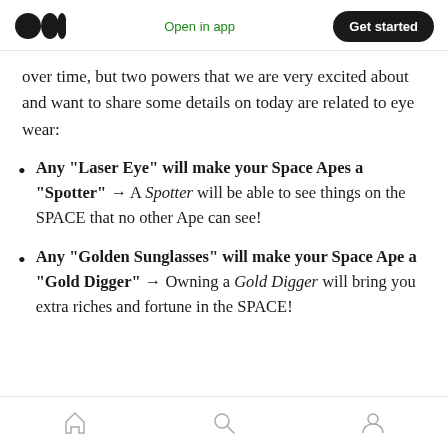Open in app | Get started
over time, but two powers that we are very excited about and want to share some details on today are related to eye wear:
Any "Laser Eye" will make your Space Apes a "Spotter" → A Spotter will be able to see things on the SPACE that no other Ape can see!
Any "Golden Sunglasses" will make your Space Ape a "Gold Digger" → Owning a Gold Digger will bring you extra riches and fortune in the SPACE!
Home | Search | Profile